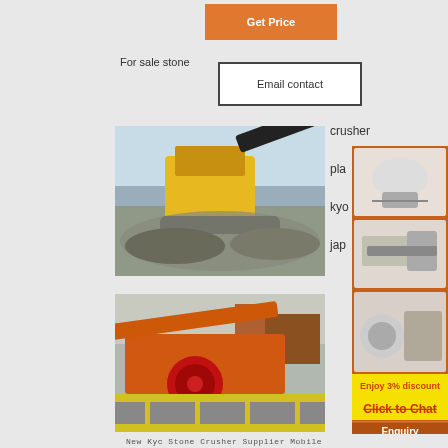Get Price
For sale stone
Email contact
crusher
[Figure (photo): Large yellow and black mining crusher machine operating on a gravel pile with trucks in background]
pla
kyo
jap
[Figure (photo): Orange industrial jaw crusher plant equipment with conveyor belts at a quarry site]
[Figure (infographic): Orange sidebar advertisement with crusher machinery images, Enjoy 3% discount banner, Click to Chat button, Enquiry section, and limingjlmofen@sina.com contact]
beckers-muehle
New Kyc Stone Crusher Supplier Mobile